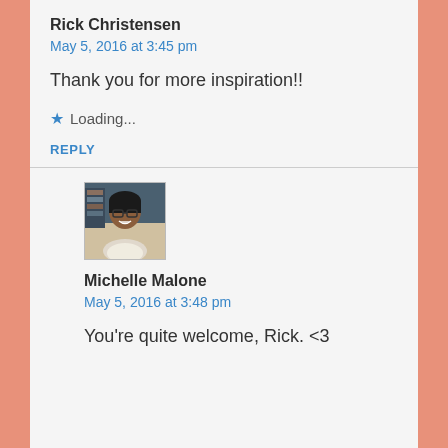Rick Christensen
May 5, 2016 at 3:45 pm
Thank you for more inspiration!!
Loading...
REPLY
[Figure (photo): Avatar photo of Michelle Malone, a woman with glasses smiling]
Michelle Malone
May 5, 2016 at 3:48 pm
You're quite welcome, Rick. <3